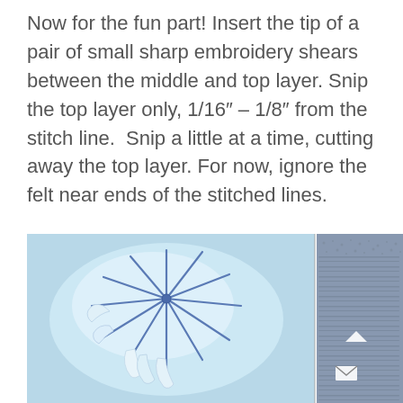Now for the fun part! Insert the tip of a pair of small sharp embroidery shears between the middle and top layer. Snip the top layer only, 1/16" – 1/8" from the stitch line.  Snip a little at a time, cutting away the top layer. For now, ignore the felt near ends of the stitched lines.
[Figure (photo): Close-up photo of blue felt fabric with a snowflake-like stitched design, showing the top layer snipped away to reveal raised felt strips. Right side shows denim fabric texture. A small chevron up arrow and envelope icon are visible on the right edge.]